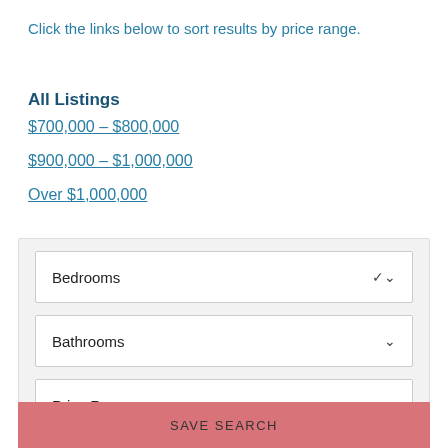Click the links below to sort results by price range.
All Listings
$700,000 - $800,000
$900,000 - $1,000,000
Over $1,000,000
Bedrooms
Bathrooms
Price Range
SAVE SEARCH